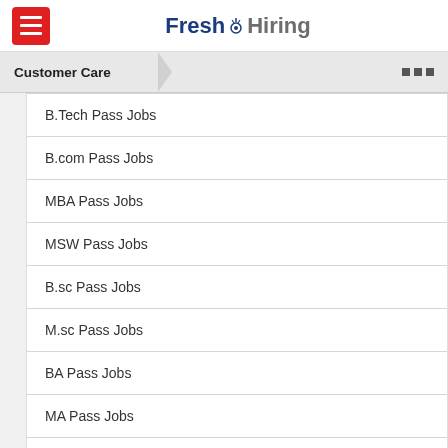[Figure (logo): Fresh Hiring website logo with hamburger menu button in red]
Customer Care
B.Tech Pass Jobs
B.com Pass Jobs
MBA Pass Jobs
MSW Pass Jobs
B.sc Pass Jobs
M.sc Pass Jobs
BA Pass Jobs
MA Pass Jobs
Graduate Pass Jobs